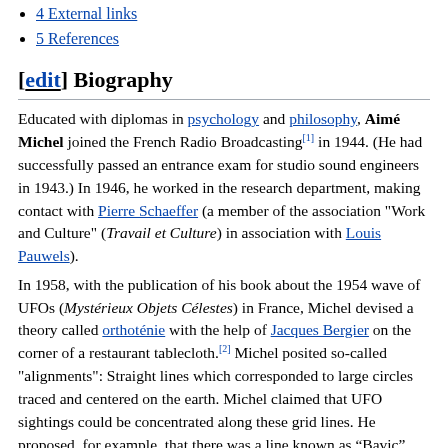4 External links
5 References
[edit] Biography
Educated with diplomas in psychology and philosophy, Aimé Michel joined the French Radio Broadcasting[1] in 1944. (He had successfully passed an entrance exam for studio sound engineers in 1943.) In 1946, he worked in the research department, making contact with Pierre Schaeffer (a member of the association "Work and Culture" (Travail et Culture) in association with Louis Pauwels).
In 1958, with the publication of his book about the 1954 wave of UFOs (Mystérieux Objets Célestes) in France, Michel devised a theory called orthoténie with the help of Jacques Bergier on the corner of a restaurant tablecloth.[2] Michel posited so-called "alignments": Straight lines which corresponded to large circles traced and centered on the earth. Michel claimed that UFO sightings could be concentrated along these grid lines. He proposed, for example, that there was a line known as “Bavic” (for “Bayonne - Vichy”) where, out of nine UFO observations cited in the press on September 24, 1954, six aligned (Bayonne...